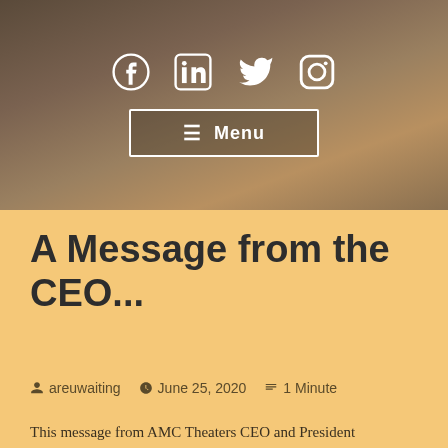[Figure (screenshot): Hero banner with dark sandy/rocky background, showing social media icons (Facebook, LinkedIn, Twitter, Instagram) and a Menu button with hamburger icon in a white-bordered rectangle.]
A Message from the CEO...
areuwaiting   June 25, 2020   1 Minute
This message from AMC Theaters CEO and President